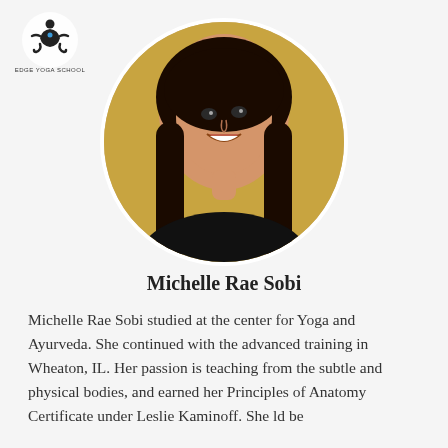[Figure (logo): Edge Yoga School logo: seated yoga figure with chakra dot, text 'EDGE YOGA SCHOOL' below]
[Figure (photo): Circular portrait photo of Michelle Rae Sobi, a smiling woman with long dark hair, against a golden/yellow background]
Michelle Rae Sobi
Michelle Rae Sobi studied at the center for Yoga and Ayurveda. She continued with the advanced training in Wheaton, IL. Her passion is teaching from the subtle and physical bodies, and earned her Principles of Anatomy Certificate under Leslie Kaminoff. She ld be...